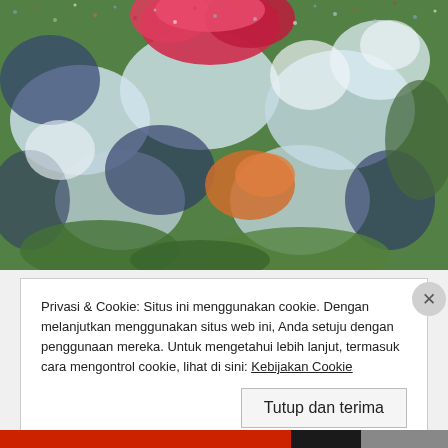[Figure (photo): A close-up pointillist-style photo of colorful flowers — pink/red blooms at top, white petals, green leaves, orange element in center, blue and dark tones throughout, with a grainy/noisy texture.]
Privasi & Cookie: Situs ini menggunakan cookie. Dengan melanjutkan menggunakan situs web ini, Anda setuju dengan penggunaan mereka. Untuk mengetahui lebih lanjut, termasuk cara mengontrol cookie, lihat di sini: Kebijakan Cookie
Tutup dan terima